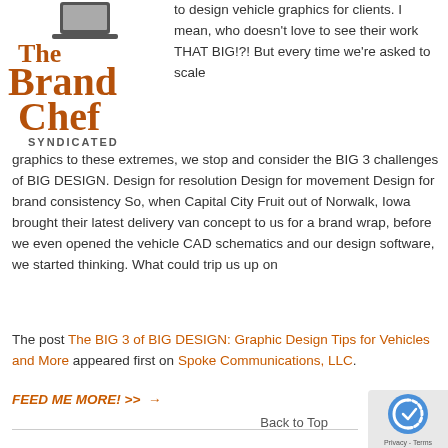[Figure (logo): The Brand Chef Syndicated logo - brown/orange serif text with 'The Brand Chef' large and 'SYNDICATED' below in caps]
to design vehicle graphics for clients. I mean, who doesn't love to see their work THAT BIG!?! But every time we're asked to scale graphics to these extremes, we stop and consider the BIG 3 challenges of BIG DESIGN. Design for resolution Design for movement Design for brand consistency So, when Capital City Fruit out of Norwalk, Iowa brought their latest delivery van concept to us for a brand wrap, before we even opened the vehicle CAD schematics and our design software, we started thinking. What could trip us up on
The post The BIG 3 of BIG DESIGN: Graphic Design Tips for Vehicles and More appeared first on Spoke Communications, LLC.
FEED ME MORE! >>  →
Back to Top